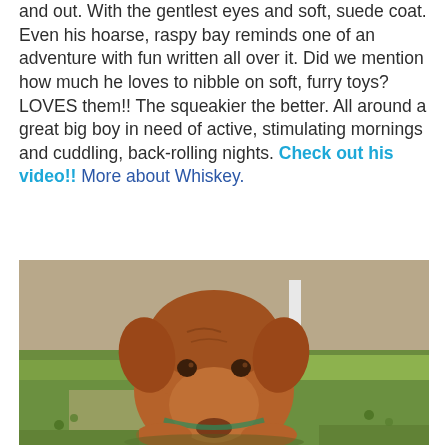and out. With the gentlest eyes and soft, suede coat. Even his hoarse, raspy bay reminds one of an adventure with fun written all over it. Did we mention how much he loves to nibble on soft, furry toys? LOVES them!! The squeakier the better. All around a great big boy in need of active, stimulating mornings and cuddling, back-rolling nights. Check out his video!! More about Whiskey.
[Figure (photo): A brown/reddish pit bull dog with head lowered toward the ground, sniffing green grass and clover. A white pole is visible in the background. Outdoor setting on dirt and grass.]